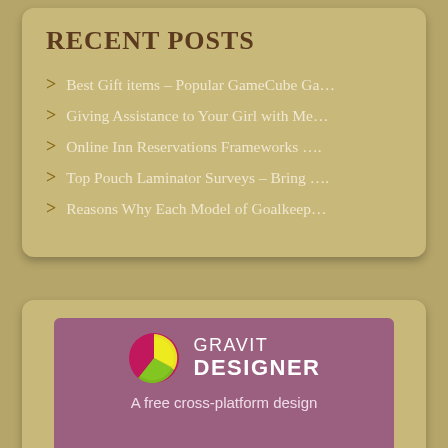RECENT POSTS
Best Gift items – Popular GameCube Ga…
Giving Assistance to Your Girl with Me…
Online Inn Reservations Frameworks ….
Top Pouch Laminator Surveys – Bring ….
Reasons Why Each Model of Goalkeep…
[Figure (logo): Gravit Designer logo and banner with purple background, showing a pie-chart style circular logo in yellow, green and pink/red, with text GRAVIT DESIGNER and tagline A free cross-platform design]